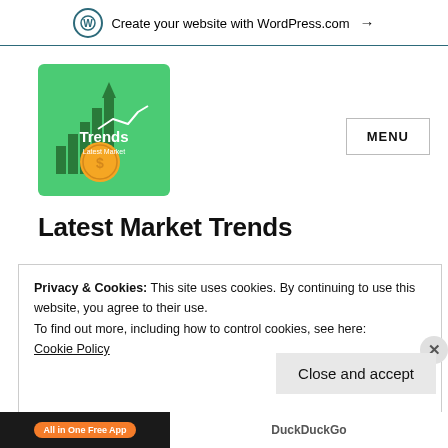Create your website with WordPress.com →
[Figure (logo): Trends Latest Market green square logo with bar chart and coin graphic]
MENU
Latest Market Trends
Privacy & Cookies: This site uses cookies. By continuing to use this website, you agree to their use.
To find out more, including how to control cookies, see here:
Cookie Policy
Close and accept
[Figure (screenshot): Bottom ad bar with 'All in One Free App' orange pill button on dark background and DuckDuckGo text]